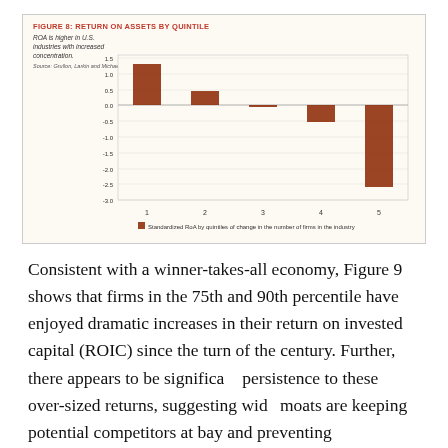[Figure (bar-chart): FIGURE 8: RETURN ON ASSETS BY QUINTILE]
Source: Grullon, Larkin and Michaely, 'Are US industries becoming more concentrated?' 2017
Consistent with a winner-takes-all economy, Figure 9 shows that firms in the 75th and 90th percentile have enjoyed dramatic increases in their return on invested capital (ROIC) since the turn of the century. Further, there appears to be significant persistence to these over-sized returns, suggesting wide moats are keeping potential competitors at bay and preventing